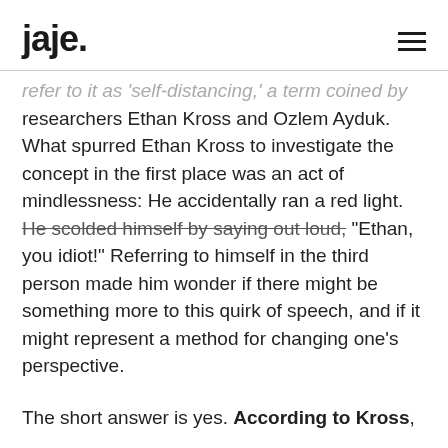jaje.
refer to it as 'self-distancing,' a term coined by researchers Ethan Kross and Ozlem Ayduk. What spurred Ethan Kross to investigate the concept in the first place was an act of mindlessness: He accidentally ran a red light. He scolded himself by saying out loud, "Ethan, you idiot!" Referring to himself in the third person made him wonder if there might be something more to this quirk of speech, and if it might represent a method for changing one's perspective.
The short answer is yes. According to Kross,